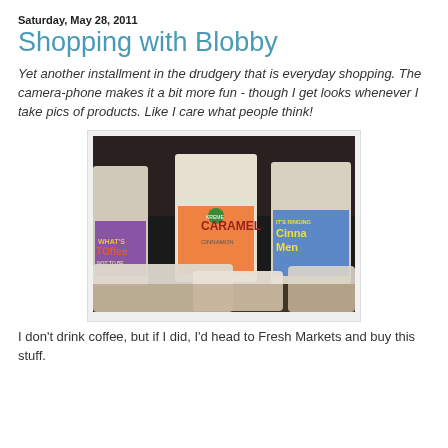Saturday, May 28, 2011
Shopping with Blobby
Yet another installment in the drudgery that is everyday shopping. The camera-phone makes it a bit more fun - though I get looks whenever I take pics of products. Like I care what people think!
[Figure (photo): Photo of several bags of flavored coffee standing upright on a display. Three prominent bags visible: 'WHAT'S TOFFEE' on the left, 'KREME CARAMEL' in the center, and 'IT'S RINGING CINNAMON' on the right. Bags are white/cream colored with colorful labels.]
I don't drink coffee, but if I did, I'd head to Fresh Markets and buy this stuff.